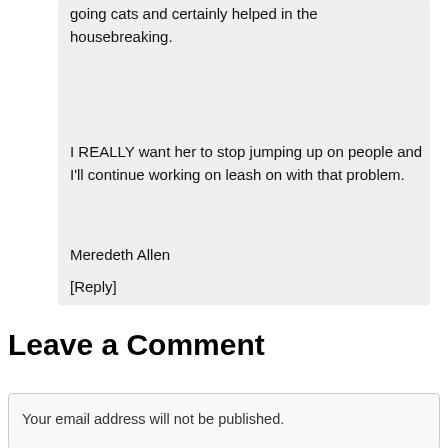going cats and certainly helped in the housebreaking.
I REALLY want her to stop jumping up on people and I'll continue working on leash on with that problem.
Meredeth Allen
[Reply]
Leave a Comment
Your email address will not be published.